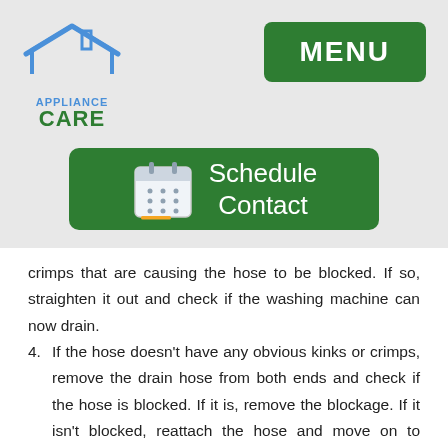[Figure (logo): Appliance Care logo with blue house outline, text APPLIANCE in blue and CARE in green]
[Figure (other): Green MENU button in top right corner]
[Figure (other): Green Schedule Contact button with calendar icon]
crimps that are causing the hose to be blocked. If so, straighten it out and check if the washing machine can now drain.
4. If the hose doesn't have any obvious kinks or crimps, remove the drain hose from both ends and check if the hose is blocked. If it is, remove the blockage. If it isn't blocked, reattach the hose and move on to checking the drain pump filter. You'll need to use a bucket when checking the hose to stop water from leaking onto the floor.